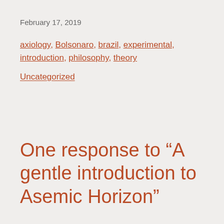February 17, 2019
axiology, Bolsonaro, brazil, experimental, introduction, philosophy, theory
Uncategorized
One response to “A gentle introduction to Asemic Horizon”